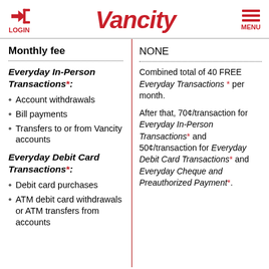Vancity — LOGIN | MENU
| Feature | Details |
| --- | --- |
| Monthly fee | NONE |
| Everyday In-Person Transactions*:
• Account withdrawals
• Bill payments
• Transfers to or from Vancity accounts

Everyday Debit Card Transactions*:
• Debit card purchases
• ATM debit card withdrawals or ATM transfers from accounts | Combined total of 40 FREE Everyday Transactions * per month.

After that, 70¢/transaction for Everyday In-Person Transactions* and 50¢/transaction for Everyday Debit Card Transactions* and Everyday Cheque and Preauthorized Payment*. |